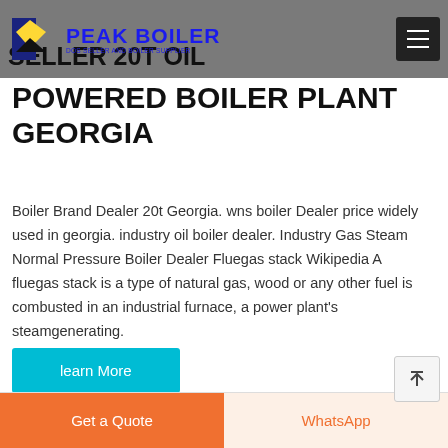PEAK BOILER — DOS SELLER AND BOILER SUPPLIER
SELLER 20T OIL POWERED BOILER PLANT GEORGIA
Boiler Brand Dealer 20t Georgia. wns boiler Dealer price widely used in georgia. industry oil boiler dealer. Industry Gas Steam Normal Pressure Boiler Dealer Fluegas stack Wikipedia A fluegas stack is a type of natural gas, wood or any other fuel is combusted in an industrial furnace, a power plant's steamgenerating.
learn More
Get a Quote | WhatsApp